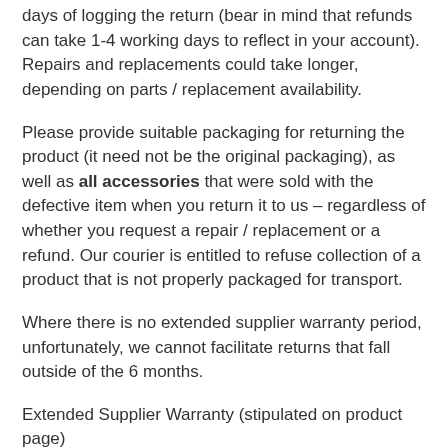days of logging the return (bear in mind that refunds can take 1-4 working days to reflect in your account). Repairs and replacements could take longer, depending on parts / replacement availability.
Please provide suitable packaging for returning the product (it need not be the original packaging), as well as all accessories that were sold with the defective item when you return it to us – regardless of whether you request a repair / replacement or a refund. Our courier is entitled to refuse collection of a product that is not properly packaged for transport.
Where there is no extended supplier warranty period, unfortunately, we cannot facilitate returns that fall outside of the 6 months.
Extended Supplier Warranty (stipulated on product page)
A product may have a supplier warranty that extends beyond the 6 months. If such a product turns out to be defective more than 6 months after delivery / collection, please notify us as